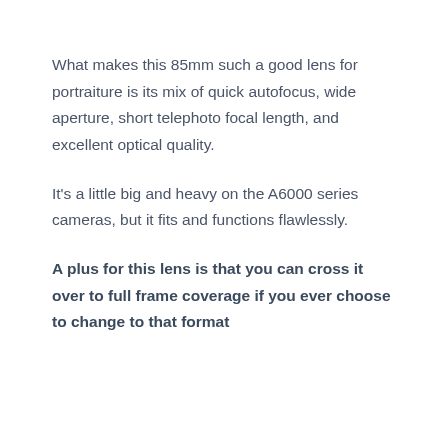What makes this 85mm such a good lens for portraiture is its mix of quick autofocus, wide aperture, short telephoto focal length, and excellent optical quality.
It's a little big and heavy on the A6000 series cameras, but it fits and functions flawlessly.
A plus for this lens is that you can cross it over to full frame coverage if you ever choose to change to that format